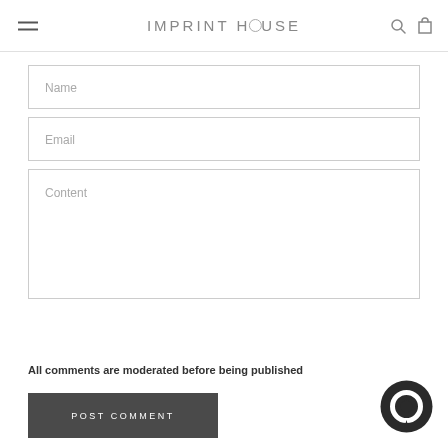IMPRINT HOUSE
Name
Email
Content
All comments are moderated before being published
POST COMMENT